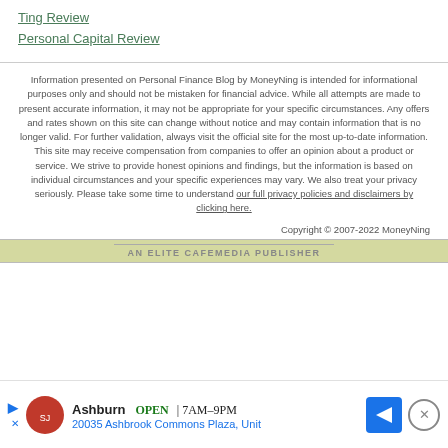Ting Review
Personal Capital Review
Information presented on Personal Finance Blog by MoneyNing is intended for informational purposes only and should not be mistaken for financial advice. While all attempts are made to present accurate information, it may not be appropriate for your specific circumstances. Any offers and rates shown on this site can change without notice and may contain information that is no longer valid. For further validation, always visit the official site for the most up-to-date information. This site may receive compensation from companies to offer an opinion about a product or service. We strive to provide honest opinions and findings, but the information is based on individual circumstances and your specific experiences may vary. We also treat your privacy seriously. Please take some time to understand our full privacy policies and disclaimers by clicking here.
Copyright © 2007-2022 MoneyNing
AN ELITE CAFEMEDIA PUBLISHER